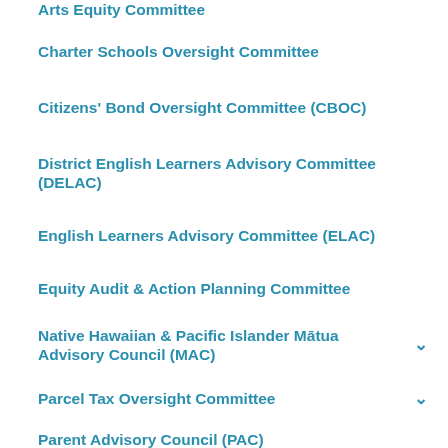Arts Equity Committee
Charter Schools Oversight Committee
Citizens' Bond Oversight Committee (CBOC)
District English Learners Advisory Committee (DELAC)
English Learners Advisory Committee (ELAC)
Equity Audit & Action Planning Committee
Native Hawaiian & Pacific Islander Mātua Advisory Council (MAC)
Parcel Tax Oversight Committee
Parent Advisory Council (PAC)